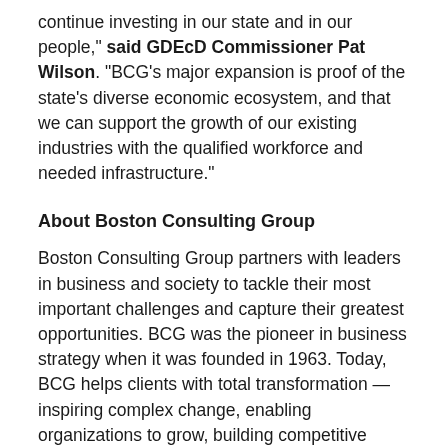continue investing in our state and in our people," said GDEcD Commissioner Pat Wilson. "BCG's major expansion is proof of the state's diverse economic ecosystem, and that we can support the growth of our existing industries with the qualified workforce and needed infrastructure."
About Boston Consulting Group
Boston Consulting Group partners with leaders in business and society to tackle their most important challenges and capture their greatest opportunities. BCG was the pioneer in business strategy when it was founded in 1963. Today, BCG helps clients with total transformation — inspiring complex change, enabling organizations to grow, building competitive advantage, and driving bottom-line impact.
About BrightHouse